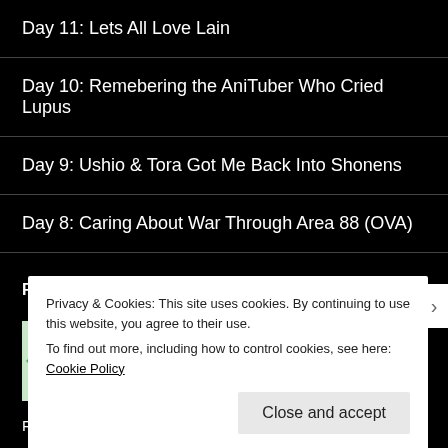Day 11: Lets All Love Lain
Day 10: Remebering the AniTuber Who Cried Lupus
Day 9: Ushio & Tora Got Me Back Into Shonens
Day 8: Caring About War Through Area 88 (OVA)
RECENT COMMENTS
caleb on Some Thoughts On: Devils Line...
Film: February 2021 on Cinema Marina: The Girl Next...
Privacy & Cookies: This site uses cookies. By continuing to use this website, you agree to their use.
To find out more, including how to control cookies, see here: Cookie Policy
Close and accept